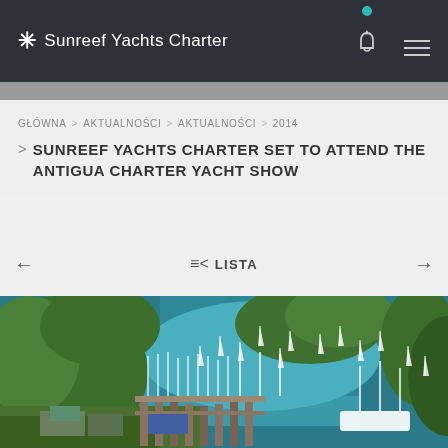✳ Sunreef Yachts Charter
GŁÓWNA > AKTUALNOŚCI > AKTUALNOŚCI > 2014 > SUNREEF YACHTS CHARTER SET TO ATTEND THE ANTIGUA CHARTER YACHT SHOW
← ≡< LISTA →
[Figure (photo): Aerial view of a marina with sailboats moored in a bay surrounded by lush green hills and jungle. Many sailboats visible on the water and docked at piers.]